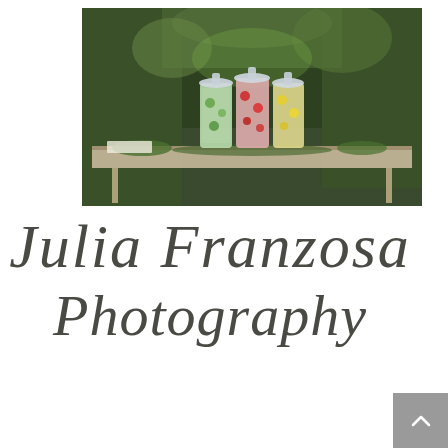[Figure (photo): Outdoor photo of three large glass beverage dispensers filled with colorful infused waters (green, red/pink, yellow) sitting on a rustic wooden table, surrounded by lush green trees and foliage in the background.]
Julia Franzosa Photography